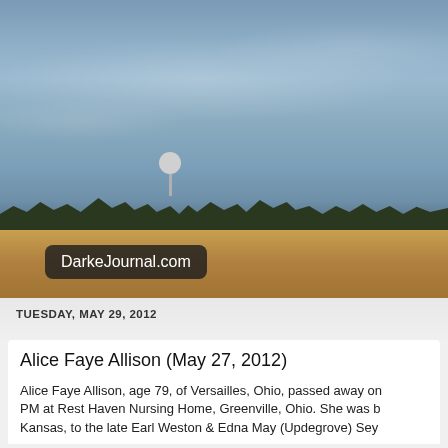[Figure (photo): Outdoor landscape photo showing a wide cloudy sky over flat farmland with a treeline and water tower in the background, and a red-brown harvested field in the foreground.]
DarkeJournal.com
TUESDAY, MAY 29, 2012
Alice Faye Allison (May 27, 2012)
Alice Faye Allison, age 79, of Versailles, Ohio, passed away on PM at Rest Haven Nursing Home, Greenville, Ohio. She was b Kansas, to the late Earl Weston & Edna May (Updegrove) Sey